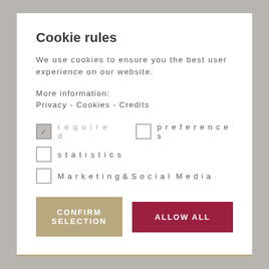Cookie rules
We use cookies to ensure you the best user experience on our website.
More information:
Privacy - Cookies - Credits
required (checked), preferences (unchecked), statistics (unchecked), Marketing & Social Media (unchecked)
CONFIRM SELECTION
ALLOW ALL